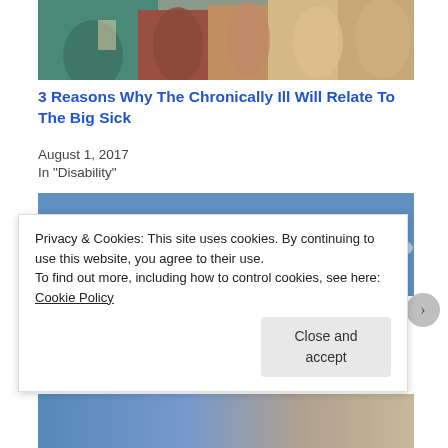[Figure (photo): Top portion of a promotional image showing a group of people, partially cropped]
3 Reasons Why The Chronically Ill Will Relate To The Big Sick
August 1, 2017
In "Disability"
[Figure (photo): A blue sky with wispy clouds and a small figure or object visible in the center]
Privacy & Cookies: This site uses cookies. By continuing to use this website, you agree to their use.
To find out more, including how to control cookies, see here:
Cookie Policy
Close and accept